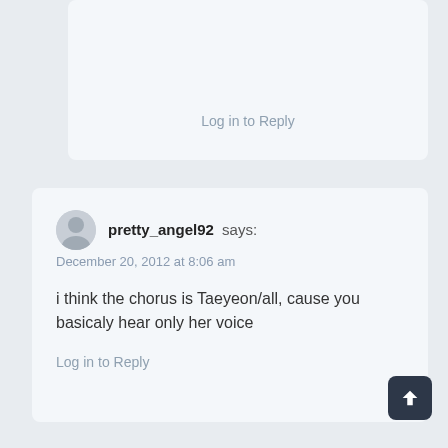Log in to Reply
pretty_angel92 says:
December 20, 2012 at 8:06 am

i think the chorus is Taeyeon/all, cause you basicaly hear only her voice
Log in to Reply